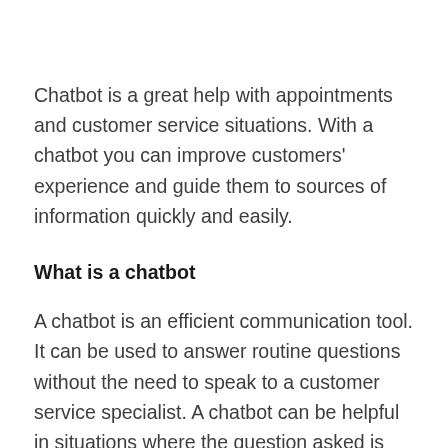Chatbot is a great help with appointments and customer service situations. With a chatbot you can improve customers' experience and guide them to sources of information quickly and easily.
What is a chatbot
A chatbot is an efficient communication tool. It can be used to answer routine questions without the need to speak to a customer service specialist. A chatbot can be helpful in situations where the question asked is simple enough to be answered without interpretation. A chatbot is also helpful in gathering the customer